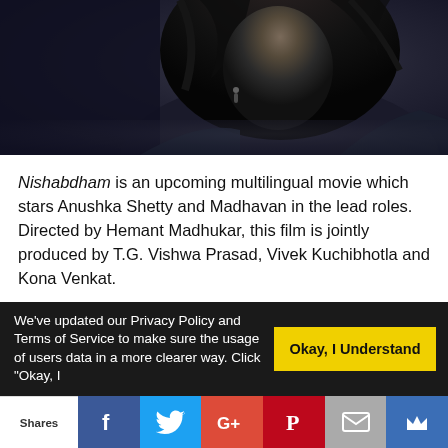[Figure (photo): Dark moody photo of a woman with curly dark hair, dimly lit against a dark background, cropped to show head and upper body]
Nishabdham is an upcoming multilingual movie which stars Anushka Shetty and Madhavan in the lead roles. Directed by Hemant Madhukar, this film is jointly produced by T.G. Vishwa Prasad, Vivek Kuchibhotla and Kona Venkat.
The trailer begins with an intense and ominous shot in the basement of a house in the U.S., showing a dead body and a terrified Sakshi (Anushka Shetty) turning towards the camera. The next shot shows a news anchor outside the
We've updated our Privacy Policy and Terms of Service to make sure the usage of users data in a more clearer way. Click "Okay, I
Okay, I Understand
Shares